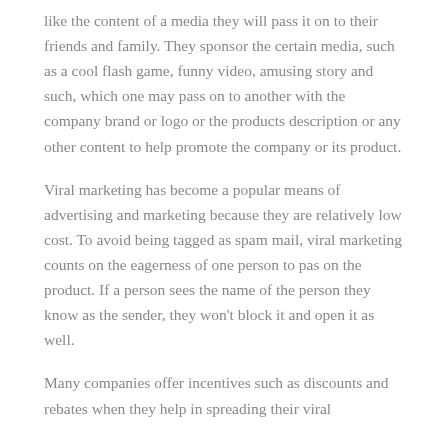like the content of a media they will pass it on to their friends and family. They sponsor the certain media, such as a cool flash game, funny video, amusing story and such, which one may pass on to another with the company brand or logo or the products description or any other content to help promote the company or its product.
Viral marketing has become a popular means of advertising and marketing because they are relatively low cost. To avoid being tagged as spam mail, viral marketing counts on the eagerness of one person to pas on the product. If a person sees the name of the person they know as the sender, they won't block it and open it as well.
Many companies offer incentives such as discounts and rebates when they help in spreading their viral